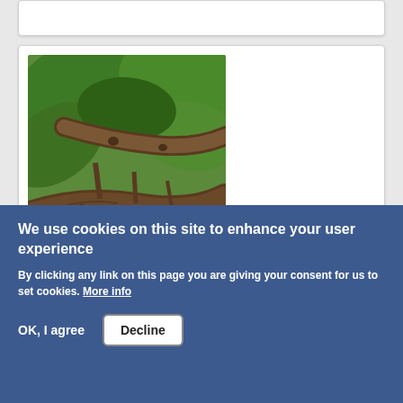[Figure (photo): A yellow-green bird perched on tree branches surrounded by green leaves. The bird appears to be a warbler or similar small songbird with yellow-olive plumage, sitting among dark brown branches with large green leaves in the background.]
We use cookies on this site to enhance your user experience
By clicking any link on this page you are giving your consent for us to set cookies. More info
OK, I agree
Decline